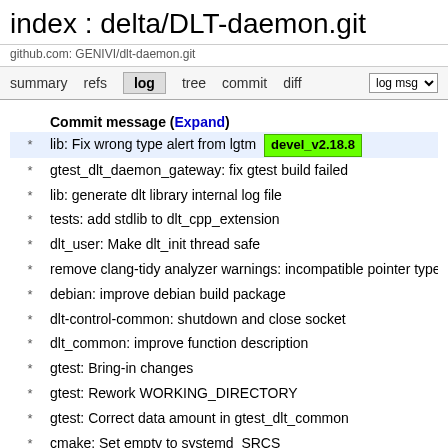index : delta/DLT-daemon.git
github.com: GENIVI/dlt-daemon.git
summary  refs  log  tree  commit  diff  log msg
Commit message (Expand)
* lib: Fix wrong type alert from lgtm  devel_v2.18.8
* gtest_dlt_daemon_gateway: fix gtest build failed
* lib: generate dlt library internal log file
* tests: add stdlib to dlt_cpp_extension
* dlt_user: Make dlt_init thread safe
* remove clang-tidy analyzer warnings: incompatible pointer type
* debian: improve debian build package
* dlt-control-common: shutdown and close socket
* dlt_common: improve function description
* gtest: Bring-in changes
* gtest: Rework WORKING_DIRECTORY
* gtest: Correct data amount in gtest_dlt_common
* cmake: Set empty to systemd_SRCS
* gtest: Refactor tests/CMakeLists.txt
* lib: Add SOCK_CLOEXEC to socket
* daemon: Create parent directory for unix socket